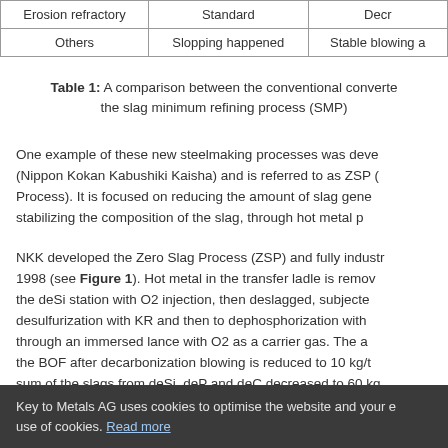| Erosion refractory | Standard | Decr… |
| --- | --- | --- |
| Others | Slopping happened | Stable blowing a… |
Table 1: A comparison between the conventional converte the slag minimum refining process (SMP)
One example of these new steelmaking processes was deve (Nippon Kokan Kabushiki Kaisha) and is referred to as ZSP ( Process). It is focused on reducing the amount of slag gene stabilizing the composition of the slag, through hot metal p
NKK developed the Zero Slag Process (ZSP) and fully indu 1998 (see Figure 1). Hot metal in the transfer ladle is remo the deSi station with O2 injection, then deslagged, subjecte desulfurization with KR and then to dephosphorization wit through an immersed lance with O2 as a carrier gas. The a the BOF after decarbonization blowing is reduced to 10 kg/ sum of the slags from deSi, deP and deC decreased to 60 k one half of the sum for conventional BOF operation. The op benefits obtained were better end-point hit rate of C and T,
Key to Metals AG uses cookies to optimise the website and your e use of cookies. Read more